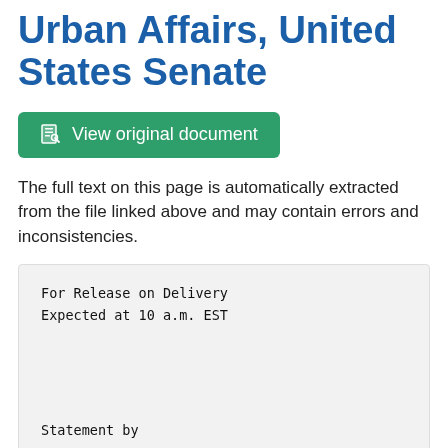Urban Affairs, United States Senate
View original document
The full text on this page is automatically extracted from the file linked above and may contain errors and inconsistencies.
For Release on Delivery
Expected at 10 a.m. EST


Statement by

Philip E. Col dwell

Member, Board of Governors of the Federal Reserve System